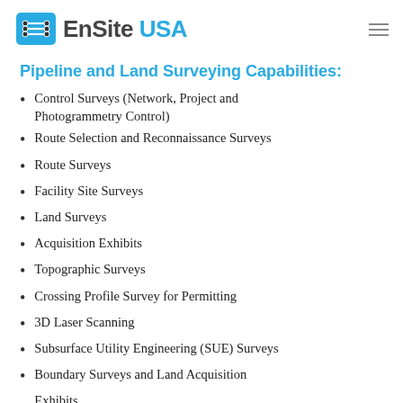EnSite USA
Pipeline and Land Surveying Capabilities:
Control Surveys (Network, Project and Photogrammetry Control)
Route Selection and Reconnaissance Surveys
Route Surveys
Facility Site Surveys
Land Surveys
Acquisition Exhibits
Topographic Surveys
Crossing Profile Survey for Permitting
3D Laser Scanning
Subsurface Utility Engineering (SUE) Surveys
Boundary Surveys and Land Acquisition Exhibits